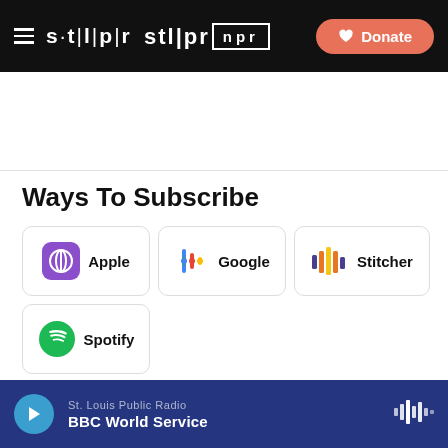STLPR NPR — Donate
Ways To Subscribe
[Figure (logo): Apple Podcasts logo — purple rounded square with podcast icon]
Apple
[Figure (logo): Google Podcasts logo — colorful microphone dots]
Google
[Figure (logo): Stitcher logo — colorful bars icon]
Stitcher
[Figure (logo): Spotify logo — green circle with sound waves]
Spotify
Send questions and comments about this story to feedback@stlpublicradio.org.
St. Louis Public Radio — BBC World Service